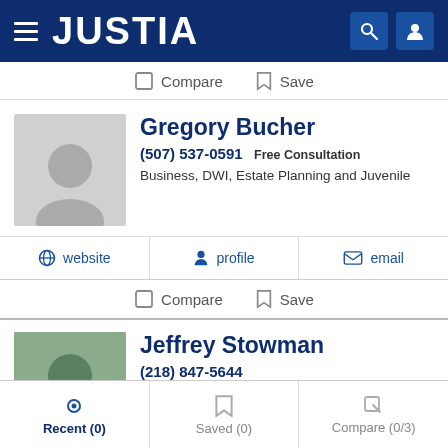JUSTIA
Compare  Save
Gregory Bucher
(507) 537-0591 Free Consultation
Business, DWI, Estate Planning and Juvenile
website  profile  email
Compare  Save
Jeffrey Stowman
(218) 847-5644
Business, Arbitration & Mediation, Insurance Claims and P...
website  profile  email
Recent (0)  Saved (0)  Compare (0/3)